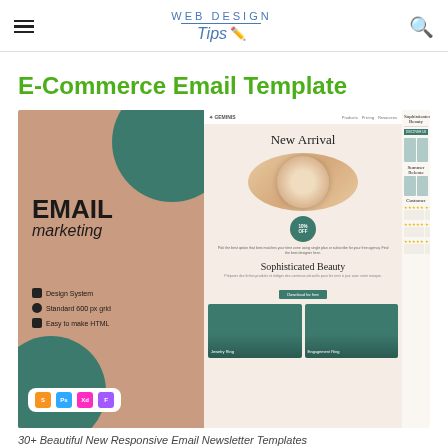WEB DESIGN Tips
E-Commerce Email Template
[Figure (screenshot): Composite screenshot showing an e-commerce email marketing template design with left panel showing 'EMAIL marketing' branding on tan/teal background with design system features listed, center panel showing a jewelry email newsletter with 'New Arrival' ring product and 'Sophisticated Beauty' section, and right panel showing further sections including Summer Release products and Customer reviews. Tool icons for Sketch, Photoshop, XD, and Figma shown at bottom left.]
30+ Beautiful New Responsive Email Newsletter Templates